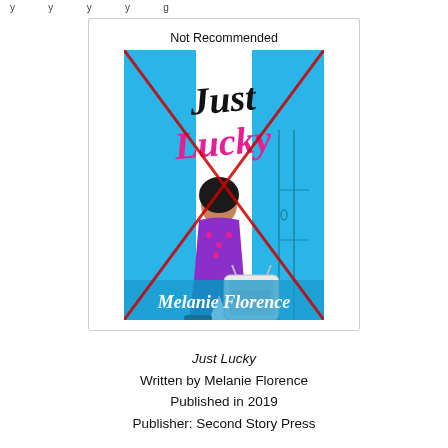y ... y ... y ... g
[Figure (illustration): Book cover of 'Just Lucky' by Melanie Florence, published by Second Story Press. The cover shows a blue background with a girl sitting against a locker, holding her head in her hands, with a backpack beside her. The title 'Just Lucky' is written in stylized black and pink script. Above the book cover image is the text 'Not Recommended' and a large red X is drawn diagonally across the cover.]
Just Lucky
Written by Melanie Florence
Published in 2019
Publisher: Second Story Press